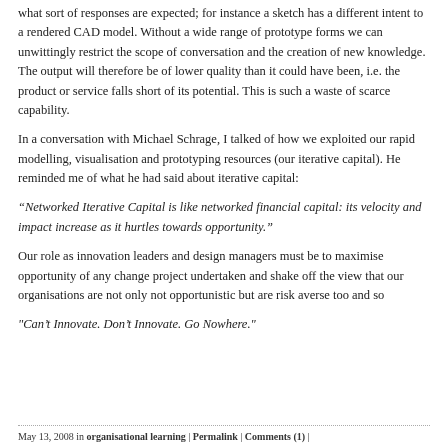what sort of responses are expected; for instance a sketch has a different intent to a rendered CAD model. Without a wide range of prototype forms we can unwittingly restrict the scope of conversation and the creation of new knowledge. The output will therefore be of lower quality than it could have been, i.e. the product or service falls short of its potential. This is such a waste of scarce capability.
In a conversation with Michael Schrage, I talked of how we exploited our rapid modelling, visualisation and prototyping resources (our iterative capital). He reminded me of what he had said about iterative capital:
“Networked Iterative Capital is like networked financial capital: its velocity and impact increase as it hurtles towards opportunity.”
Our role as innovation leaders and design managers must be to maximise opportunity of any change project undertaken and shake off the view that our organisations are not only not opportunistic but are risk averse too and so
"Can’t Innovate. Don’t Innovate. Go Nowhere."
May 13, 2008 in organisational learning | Permalink | Comments (1) |